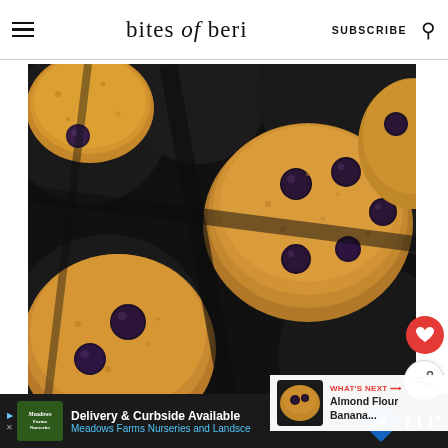bites of beri — SUBSCRIBE
[Figure (photo): Overhead close-up of blueberry oat muffins in a dark muffin tin, showing golden-brown crumbly tops with large blueberries embedded in them]
WHAT'S NEXT → Almond Flour Banana...
Delivery & Curbside Available Meadows Farms Nurseries and Landsc...